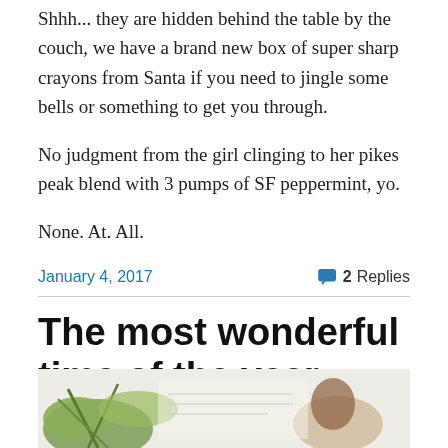Shhh... they are hidden behind the table by the couch, we have a brand new box of super sharp crayons from Santa if you need to jingle some bells or something to get you through.
No judgment from the girl clinging to her pikes peak blend with 3 pumps of SF peppermint, yo.
None. At. All.
January 4, 2017    💬 2 Replies
The most wonderful time of the year.
[Figure (photo): A photo showing green plant/herbs and what appears to be a person, shot from above on a light surface]